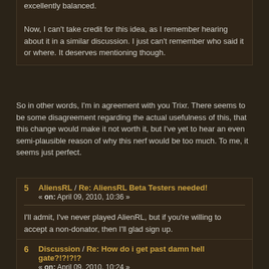excellently balanced.

Now, I can't take credit for this idea, as I remember hearing about it in a similar discussion. I just can't remember who said it or where. It deserves mentioning though.
So in other words, I'm in agreement with you Trixr. There seems to be some disagreement regarding the actual usefulness of this, that this change would make it not worth it, but I've yet to hear an even semi-plausible reason of why this nerf would be too much. To me, it seems just perfect.
5 AliensRL / Re: AliensRL Beta Testers needed! « on: April 09, 2010, 10:36 »
I'll admit, I've never played AlienRL, but if you're willing to accept a non-donator, then I'll glad sign up.

Should I just send you an email address or what?
6 Discussion / Re: How do i get past damn hell gate?!?!?!? « on: April 09, 2010, 10:24 »
Yeah, doing the Wall and getting the missile launcher, then stockpiling